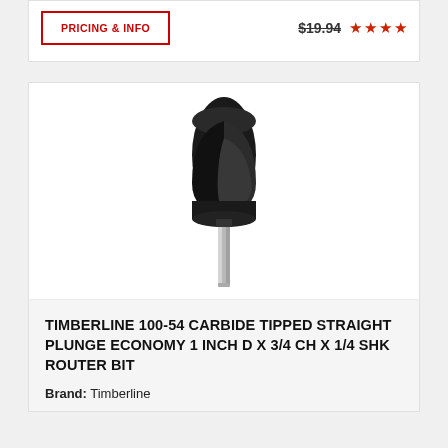PRICING & INFO
$19.94
[Figure (photo): Timberline 100-54 carbide tipped straight plunge router bit — black cylindrical cutting head with two flutes at top, narrowing to a silver shank at bottom, on white background.]
TIMBERLINE 100-54 CARBIDE TIPPED STRAIGHT PLUNGE ECONOMY 1 INCH D X 3/4 CH X 1/4 SHK ROUTER BIT
Brand: Timberline